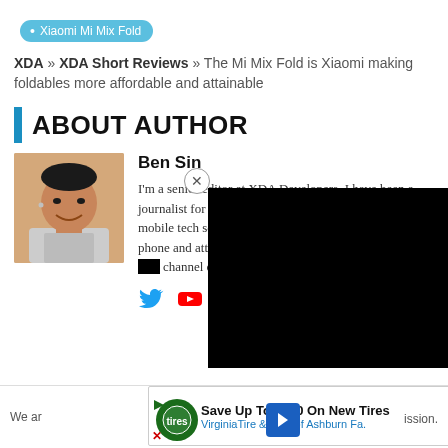Xiaomi Mi Mix Fold
XDA » XDA Short Reviews » The Mi Mix Fold is Xiaomi making foldables more affordable and attainable
ABOUT AUTHOR
[Figure (photo): Author headshot of Ben Sin, smiling man]
Ben Sin
I'm a senior editor at XDA Developers. I have been a journalist for a decade, the last five years covering the mobile tech scene closely, reviewing just about every phone and att[ending major launches. I als[o run a channel on You[Tube].
[Figure (other): Black video player overlay covering part of the author bio]
We ar[e supported by commission.